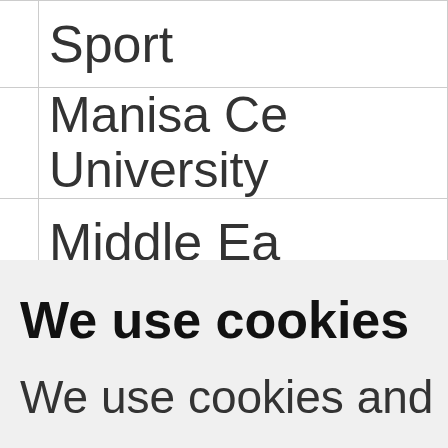|  | Sport |
|  | Manisa Ce
University |
|  | Middle Ea |
We use cookies
We use cookies and